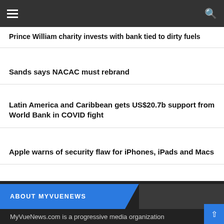Navigation bar with hamburger menu and search icon
Prince William charity invests with bank tied to dirty fuels
Sands says NACAC must rebrand
Latin America and Caribbean gets US$20.7b support from World Bank in COVID fight
Apple warns of security flaw for iPhones, iPads and Macs
ABOUT MYVUENEWS
MyVueNews.com is a progressive media organization providing extensive news coverage on topics and issues